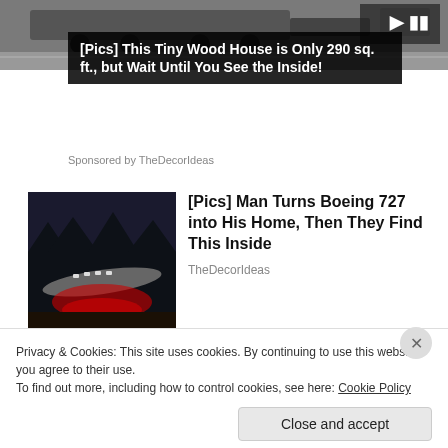[Figure (photo): Top strip showing a vehicle/trailer on a road]
[Pics] This Tiny Wood House is Only 290 sq. ft., but Wait Until You See the Inside!
Sponsored by TheDecorIdeas
[Figure (photo): Night photo of a Boeing 727 aircraft converted into a home, with red lighting underneath]
[Pics] Man Turns Boeing 727 into His Home, Then They Find This Inside
TheDecorIdeas
[Figure (photo): Partial image of interior, article about Donald Trump's Florida]
[Pics] Donald Trump's Florida
Privacy & Cookies: This site uses cookies. By continuing to use this website, you agree to their use.
To find out more, including how to control cookies, see here: Cookie Policy
Close and accept